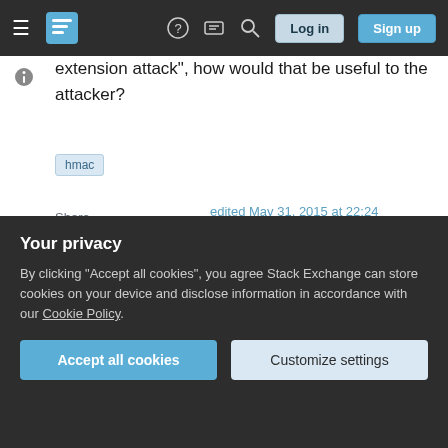Stack Exchange navigation bar with Log in and Sign up buttons
extension attack", how would that be useful to the attacker?
hmac
Share
Improve this question
Follow
edited May 31, 2015 at 22:24
asked Sep 13, 2012 at 11:22
user5575
Your privacy
By clicking "Accept all cookies", you agree Stack Exchange can store cookies on your device and disclose information in accordance with our Cookie Policy.
Accept all cookies
Customize settings
Sep 18, 2012 at 19:09